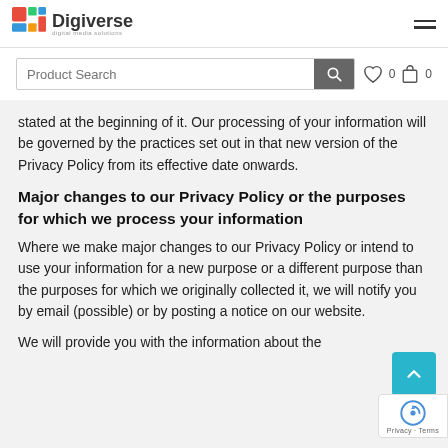Digiverse digital media solutions
[Figure (screenshot): Product Search bar with search icon button, heart icon with count 0, and cart icon with count 0]
stated at the beginning of it. Our processing of your information will be governed by the practices set out in that new version of the Privacy Policy from its effective date onwards.
Major changes to our Privacy Policy or the purposes for which we process your information
Where we make major changes to our Privacy Policy or intend to use your information for a new purpose or a different purpose than the purposes for which we originally collected it, we will notify you by email (possible) or by posting a notice on our website.
We will provide you with the information about the